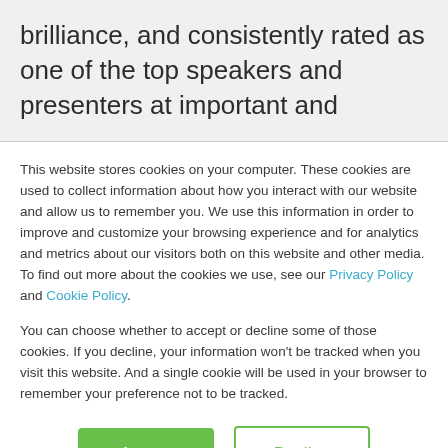brilliance, and consistently rated as one of the top speakers and presenters at important and
This website stores cookies on your computer. These cookies are used to collect information about how you interact with our website and allow us to remember you. We use this information in order to improve and customize your browsing experience and for analytics and metrics about our visitors both on this website and other media. To find out more about the cookies we use, see our Privacy Policy and Cookie Policy.
You can choose whether to accept or decline some of those cookies. If you decline, your information won't be tracked when you visit this website. And a single cookie will be used in your browser to remember your preference not to be tracked.
Accept
Decline